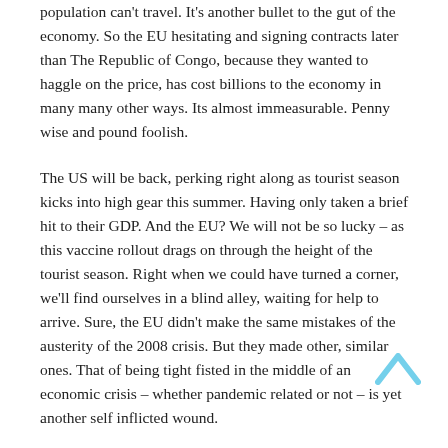population can't travel. It's another bullet to the gut of the economy. So the EU hesitating and signing contracts later than The Republic of Congo, because they wanted to haggle on the price, has cost billions to the economy in many many other ways. Its almost immeasurable. Penny wise and pound foolish.
The US will be back, perking right along as tourist season kicks into high gear this summer. Having only taken a brief hit to their GDP. And the EU? We will not be so lucky – as this vaccine rollout drags on through the height of the tourist season. Right when we could have turned a corner, we'll find ourselves in a blind alley, waiting for help to arrive. Sure, the EU didn't make the same mistakes of the austerity of the 2008 crisis. But they made other, similar ones. That of being tight fisted in the middle of an economic crisis – whether pandemic related or not – is yet another self inflicted wound.